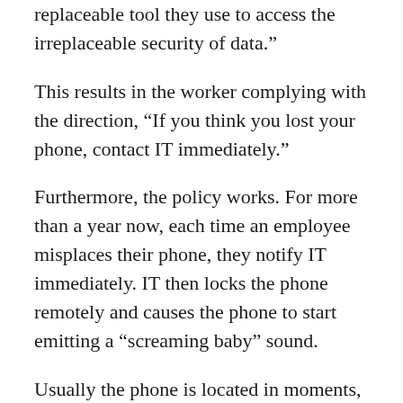replaceable tool they use to access the irreplaceable security of data.”
This results in the worker complying with the direction, “If you think you lost your phone, contact IT immediately.”
Furthermore, the policy works. For more than a year now, each time an employee misplaces their phone, they notify IT immediately. IT then locks the phone remotely and causes the phone to start emitting a “screaming baby” sound.
Usually the phone is located in moments, and if not, IT proceeds to perform a remote wipe of the data on the device.